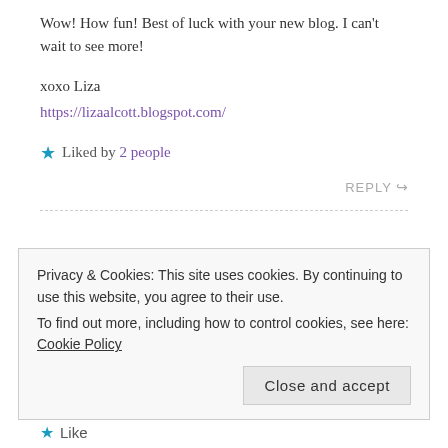Wow! How fun! Best of luck with your new blog. I can't wait to see more!
xoxo Liza
https://lizaalcott.blogspot.com/
Liked by 2 people
REPLY ↩
Privacy & Cookies: This site uses cookies. By continuing to use this website, you agree to their use.
To find out more, including how to control cookies, see here: Cookie Policy
Close and accept
Like